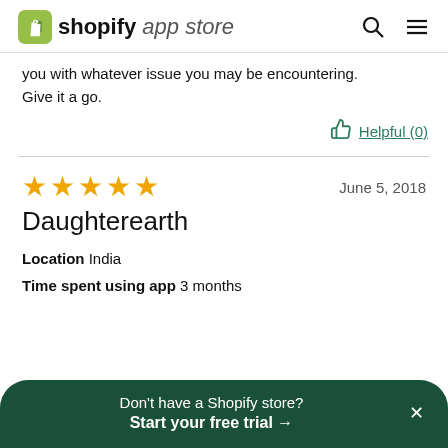shopify app store
you with whatever issue you may be encountering. Give it a go.
Helpful (0)
★★★★★  June 5, 2018
Daughterearth
Location  India
Time spent using app  3 months
Don't have a Shopify store? Start your free trial →